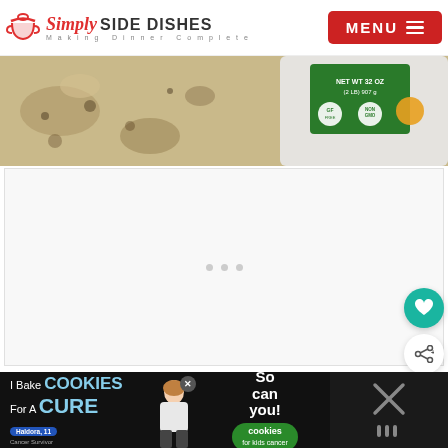Simply SIDE DISHES — Making Dinner Complete | MENU
[Figure (photo): Close-up of a bag of rice on a granite countertop. Label reads NET WT 32 OZ (2 LB) 907g with non-GMO and gluten-free badges.]
[Figure (other): Advertisement placeholder with three small gray dots centered on white/light gray background]
[Figure (other): Teal circular button with heart icon (save/favorite)]
[Figure (other): White circular button with share icon]
[Figure (other): What's Next card showing thumbnail of mac and cheese, text: WHAT'S NEXT → Easy Instant Pot Mac and...]
[Figure (other): Bottom banner advertisement: I Bake COOKIES For A CURE (Haldora, 11, Cancer Survivor) — So can you! cookies for kids cancer — with close X button and additional icons]